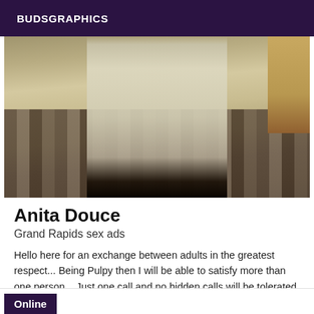BUDSGRAPHICS
[Figure (photo): A person walking away in a hallway/corridor with striped carpet flooring, wearing light-colored pants and dark shoes, with a tan wall visible on the right.]
Anita Douce
Grand Rapids sex ads
Hello here for an exchange between adults in the greatest respect... Being Pulpy then I will be able to satisfy more than one person... Just one call and no hidden calls will be tolerated.
Online